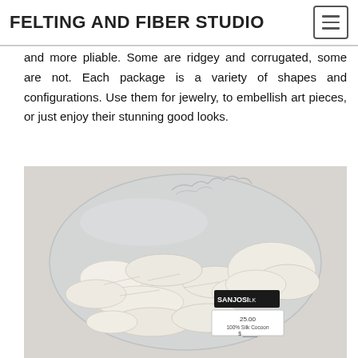FELTING AND FIBER STUDIO
and more pliable. Some are ridgey and corrugated, some are not. Each package is a variety of shapes and configurations. Use them for jewelry, to embellish art pieces, or just enjoy their stunning good looks.
[Figure (photo): A clear plastic bag containing white/cream colored silk cocoon pieces, with a SANJOSI label visible and a price tag showing 25.00, 100% Silk Cocoon.]